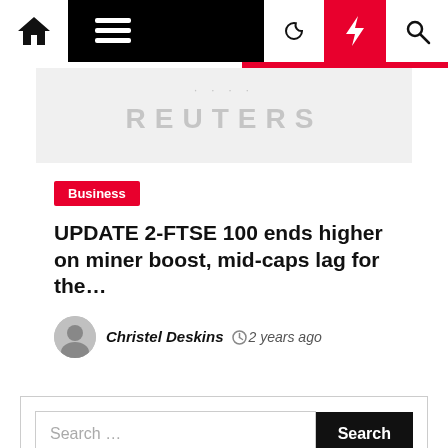Navigation bar with home, menu, moon, bolt, and search icons
[Figure (logo): Reuters watermark logo in light gray on a light gray background]
Business
UPDATE 2-FTSE 100 ends higher on miner boost, mid-caps lag for the…
Christel Deskins  2 years ago